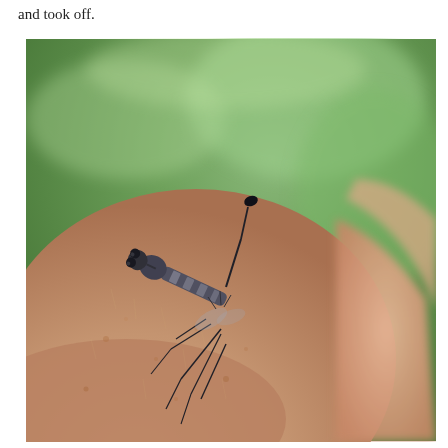and took off.
[Figure (photo): Close-up macro photograph of a robber fly (Asilidae) perched on the back of a human hand. The fly is shown in profile with its body angled upward, long legs visible, large compound eyes, and bristly thorax. A finger is visible in the background on the right side. The background shows blurred green grass/foliage.]